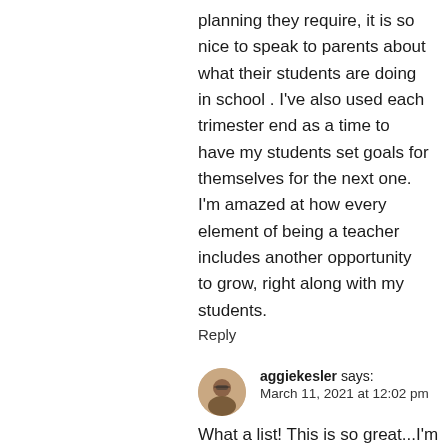planning they require, it is so nice to speak to parents about what their students are doing in school . I've also used each trimester end as a time to have my students set goals for themselves for the next one. I'm amazed at how every element of being a teacher includes another opportunity to grow, right along with my students.
Reply
aggiekesler says:
March 11, 2021 at 12:02 pm
What a list! This is so great...I'm really